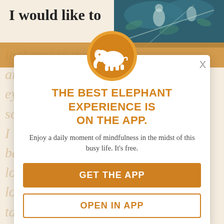I would like to
[Figure (illustration): Decorative illustration with animals and foliage on dark teal background (top right corner)]
look you in the eyes, and you look me in the eyes, as lovers do, a soft quiet, warm, calm. I would like to not come back for days is not long enough, but it is longer than I have taken for myself an eternity. It would
[Figure (logo): Orange circle with white elephant silhouette icon]
THE BEST ELEPHANT EXPERIENCE IS ON THE APP.
Enjoy a daily moment of mindfulness in the midst of this busy life. It's free.
GET THE APP
OPEN IN APP